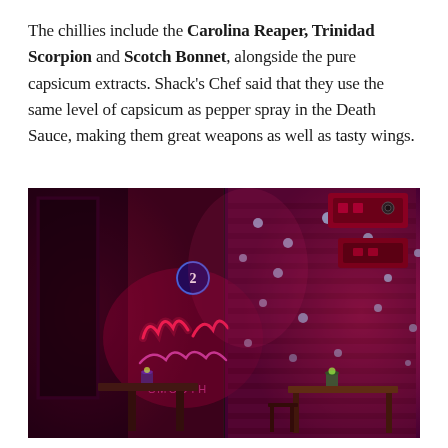The chillies include the Carolina Reaper, Trinidad Scorpion and Scotch Bonnet, alongside the pure capsicum extracts. Shack's Chef said that they use the same level of capsicum as pepper spray in the Death Sauce, making them great weapons as well as tasty wings.
[Figure (photo): Interior of a bar/restaurant with red neon lighting. Neon sign reading 'We Serve Clean Shave Smooth' on a dark wall, a billiard ball number 2 sign, exposed brick wall lit with pink/purple spotlights, and a table with a candle.]